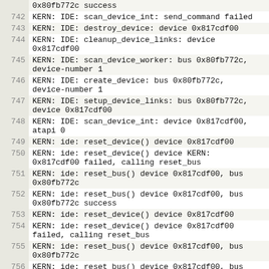0x80fb772c success
742 KERN: IDE: scan_device_int: send_command failed
743 KERN: IDE: destroy_device: device 0x817cdf00
744 KERN: IDE: cleanup_device_links: device 0x817cdf00
745 KERN: IDE: scan_device_worker: bus 0x80fb772c, device-number 1
746 KERN: IDE: create_device: bus 0x80fb772c, device-number 1
747 KERN: IDE: setup_device_links: bus 0x80fb772c, device 0x817cdf00
748 KERN: IDE: scan_device_int: device 0x817cdf00, atapi 0
749 KERN: ide: reset_device() device 0x817cdf00
750 KERN: ide: reset_device() device KERN: 0x817cdf00 failed, calling reset_bus
751 KERN: ide: reset_bus() device 0x817cdf00, bus 0x80fb772c
752 KERN: ide: reset_bus() device 0x817cdf00, bus 0x80fb772c success
753 KERN: ide: reset_device() device 0x817cdf00
754 KERN: ide: reset_device() device 0x817cdf00 failed, calling reset_bus
755 KERN: ide: reset_bus() device 0x817cdf00, bus 0x80fb772c
756 KERN: ide: reset_bus() device 0x817cdf00, bus 0x80fb772c success
757 KERN: IDE: scan_device_int: send_command failed